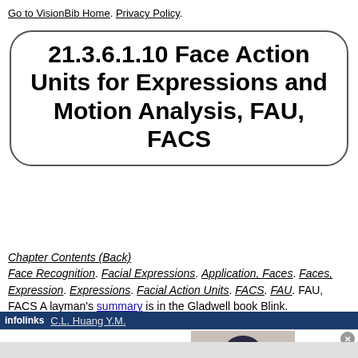Go to VisionBib Home. Privacy Policy.
21.3.6.1.10 Face Action Units for Expressions and Motion Analysis, FAU, FACS
Chapter Contents (Back)
Face Recognition. Facial Expressions. Application, Faces. Faces, Expression. Expressions. Facial Action Units. FACS. FAU. FAU, FACS A layman's summary is in the Gladwell book Blink.
[Figure (other): Bloomingdales advertisement banner with logo, 'View Today's Top Deals!' text, woman in hat photo, and 'SHOP NOW >' button. Overlaid on content with infolinks bar at top showing partial text 'C.L. Huang Y.M.']